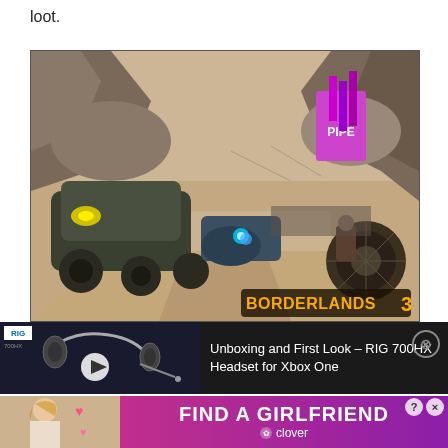loot.
[Figure (screenshot): Borderlands 3 video game screenshot showing armored vehicles in a desert canyon environment with a PIPE sign and the Borderlands 3 logo in the bottom right corner]
[Figure (screenshot): Video advertisement thumbnail for 'Unboxing and First Look - RIG 700HX Headset for Xbox One' showing a gaming headset with a play button and close button]
[Figure (screenshot): Dating app advertisement with text 'FIND A GIRLFRIEND' and 'clover' branding on a pink/purple gradient background with a woman's photo on the left]